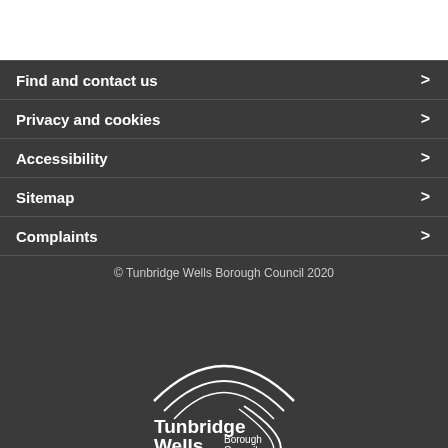Find and contact us >
Privacy and cookies >
Accessibility >
Sitemap >
Complaints >
© Tunbridge Wells Borough Council 2020
[Figure (logo): Tunbridge Wells Borough Council logo with arc/wave design above the text]